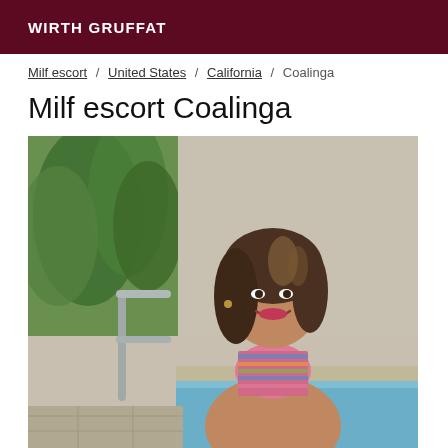WIRTH GRUFFAT
Milf escort / United States / California / Coalinga
Milf escort Coalinga
[Figure (photo): Woman in a striped bikini standing near a swimming pool, smiling over her shoulder, with tropical plants and a pool railing visible in the background.]